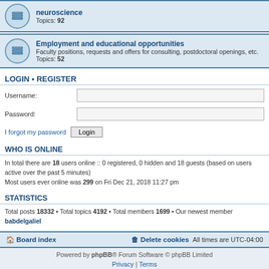neuroscience Topics: 92
Employment and educational opportunities Faculty positions, requests and offers for consulting, postdoctoral openings, etc. Topics: 52
LOGIN • REGISTER
Username:
Password:
I forgot my password
WHO IS ONLINE
In total there are 18 users online :: 0 registered, 0 hidden and 18 guests (based on users active over the past 5 minutes)
Most users ever online was 299 on Fri Dec 21, 2018 11:27 pm
STATISTICS
Total posts 18332 • Total topics 4192 • Total members 1699 • Our newest member babdelgaliel
Board index | Delete cookies | All times are UTC-04:00
Powered by phpBB® Forum Software © phpBB Limited
Privacy | Terms